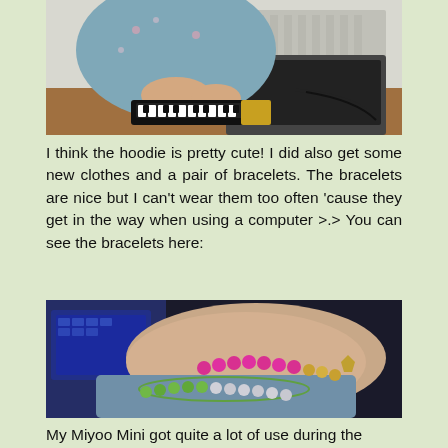[Figure (photo): Person in blue floral hoodie playing a small keyboard/piano, with a laptop and cables visible on a desk]
I think the hoodie is pretty cute! I did also get some new clothes and a pair of bracelets. The bracelets are nice but I can't wear them too often 'cause they get in the way when using a computer >.> You can see the bracelets here:
[Figure (photo): Close-up of a wrist wearing two beaded bracelets — one with green and crystal/silver beads and one with pink and gold beads — over a blue knit sleeve]
My Miyoo Mini got quite a lot of use during the vacation, though I mainly played beatmania games on it during that